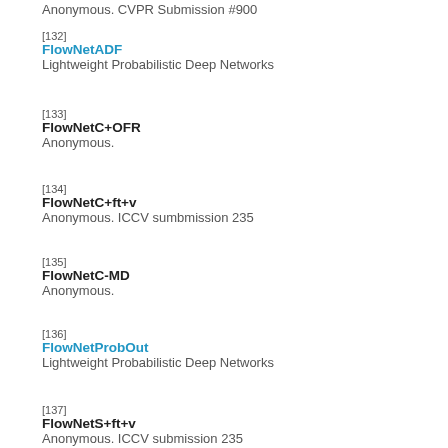Anonymous. CVPR Submission #900
[132]
FlowNetADF
Lightweight Probabilistic Deep Networks
[133]
FlowNetC+OFR
Anonymous.
[134]
FlowNetC+ft+v
Anonymous. ICCV sumbmission 235
[135]
FlowNetC-MD
Anonymous.
[136]
FlowNetProbOut
Lightweight Probabilistic Deep Networks
[137]
FlowNetS+ft+v
Anonymous. ICCV submission 235